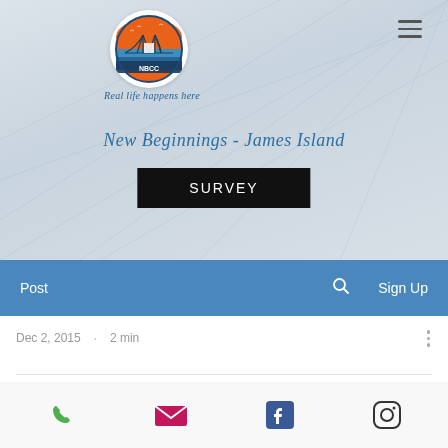[Figure (logo): NBCC James Island circular logo with bridge and sunset, tagline 'Real life happens here']
New Beginnings - James Island
SURVEY
Post
Sign Up
Dec 2, 2015  ·  2 min
[Figure (infographic): Footer icons: phone, email, Facebook, Instagram]